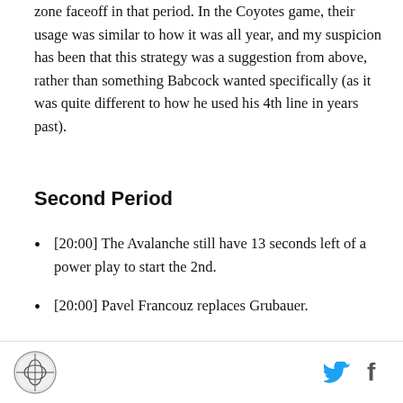zone faceoff in that period. In the Coyotes game, their usage was similar to how it was all year, and my suspicion has been that this strategy was a suggestion from above, rather than something Babcock wanted specifically (as it was quite different to how he used his 4th line in years past).
Second Period
[20:00] The Avalanche still have 13 seconds left of a power play to start the 2nd.
[20:00] Pavel Francouz replaces Grubauer.
[18:59] The Matthews line picks up where they left off, absolutely dummying the Avalanche.